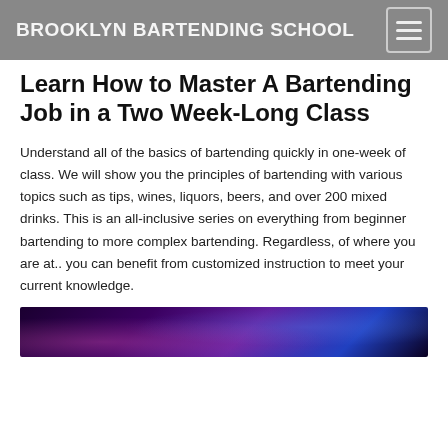BROOKLYN BARTENDING SCHOOL
Learn How to Master A Bartending Job in a Two Week-Long Class
Understand all of the basics of bartending quickly in one-week of class. We will show you the principles of bartending with various topics such as tips, wines, liquors, beers, and over 200 mixed drinks. This is an all-inclusive series on everything from beginner bartending to more complex bartending. Regardless, of where you are at.. you can benefit from customized instruction to meet your current knowledge.
[Figure (photo): Dark photo of a bartending scene with purple/blue lighting]